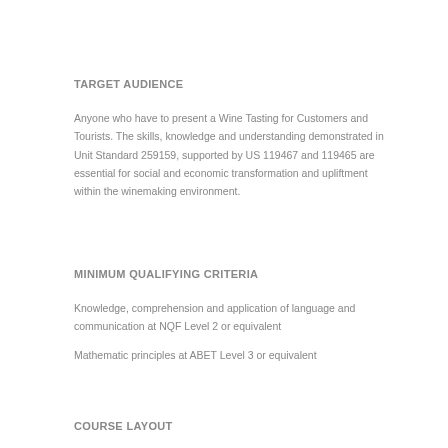TARGET AUDIENCE
Anyone who have to present a Wine Tasting for Customers and Tourists.  The skills, knowledge and understanding demonstrated in Unit Standard 259159, supported by US 119467 and 119465 are essential for social and economic transformation and upliftment within the winemaking environment.
MINIMUM QUALIFYING CRITERIA
Knowledge, comprehension and application of language and communication at NQF Level 2 or equivalent
Mathematic principles at ABET Level 3 or equivalent
COURSE LAYOUT